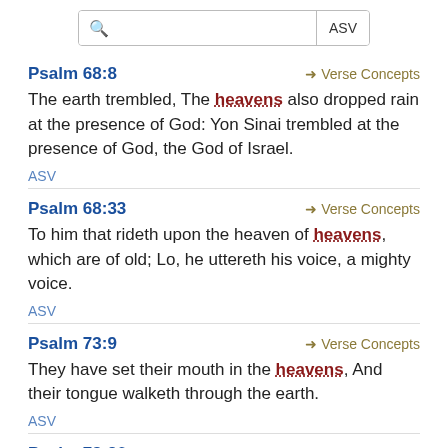Search ASV
Psalm 68:8
The earth trembled, The heavens also dropped rain at the presence of God: Yon Sinai trembled at the presence of God, the God of Israel.
ASV
Psalm 68:33
To him that rideth upon the heaven of heavens, which are of old; Lo, he uttereth his voice, a mighty voice.
ASV
Psalm 73:9
They have set their mouth in the heavens, And their tongue walketh through the earth.
ASV
Psalm 78:26